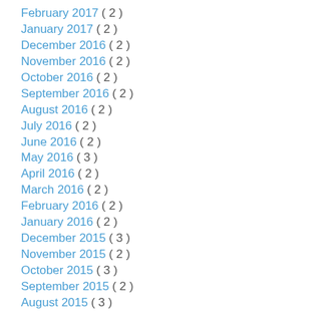February 2017 ( 2 )
January 2017 ( 2 )
December 2016 ( 2 )
November 2016 ( 2 )
October 2016 ( 2 )
September 2016 ( 2 )
August 2016 ( 2 )
July 2016 ( 2 )
June 2016 ( 2 )
May 2016 ( 3 )
April 2016 ( 2 )
March 2016 ( 2 )
February 2016 ( 2 )
January 2016 ( 2 )
December 2015 ( 3 )
November 2015 ( 2 )
October 2015 ( 3 )
September 2015 ( 2 )
August 2015 ( 3 )